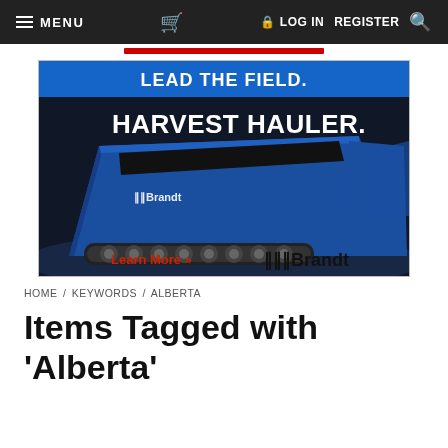MENU  [cart]  LOG IN  REGISTER  [search]
[Figure (photo): Brandt Harvest Hauler advertisement. Large blue grain cart with tracked undercarriage inside an exhibition hall. Blue banner at top reads 'LEAD THE FIELD.' in white. Large white text 'HARVEST HAULER.' overlays the image. Bottom left: 'Learn More »' in red. Bottom right: '///Brandt' logo in black.]
HOME / KEYWORDS / ALBERTA
Items Tagged with 'Alberta'